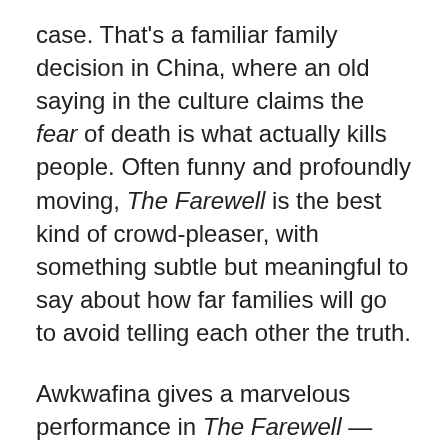case. That's a familiar family decision in China, where an old saying in the culture claims the fear of death is what actually kills people. Often funny and profoundly moving, The Farewell is the best kind of crowd-pleaser, with something subtle but meaningful to say about how far families will go to avoid telling each other the truth.
Awkwafina gives a marvelous performance in The Farewell — and a surprising one, too, given that her role is more poignant than funny. Awkwafina's rapid rise to fame over the past few years has been rooted in the bright, amusing public persona she's developed, via YouTube videos, rap songs, TV commercials, Saturday Night Live guest shots, movie cameos, and talk-show appearances. She's